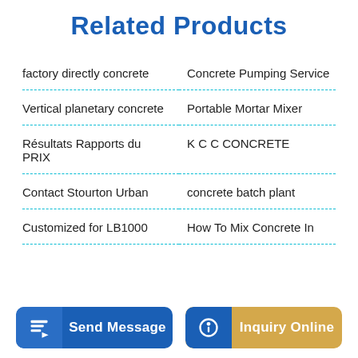Related Products
factory directly concrete
Concrete Pumping Service
Vertical planetary concrete
Portable Mortar Mixer
Résultats Rapports du PRIX
K C C CONCRETE
Contact Stourton Urban
concrete batch plant
Customized for LB1000
How To Mix Concrete In
Send Message
Inquiry Online